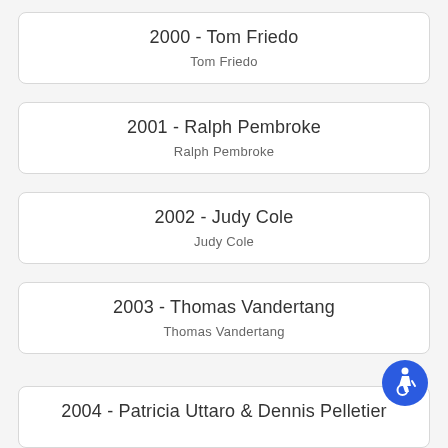2000 - Tom Friedo
Tom Friedo
2001 - Ralph Pembroke
Ralph Pembroke
2002 - Judy Cole
Judy Cole
2003 - Thomas Vandertang
Thomas Vandertang
[Figure (illustration): Blue circular accessibility icon with wheelchair user symbol]
2004 - Patricia Uttaro & Dennis Pelletier